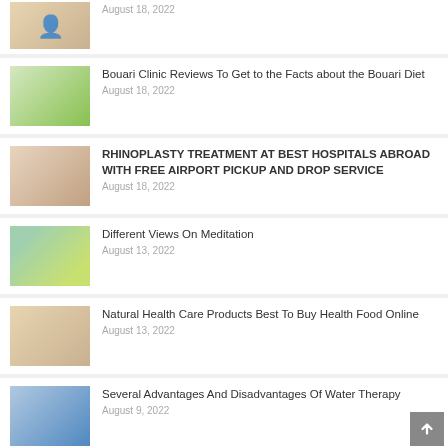August 18, 2022
Bouari Clinic Reviews To Get to the Facts about the Bouari Diet
August 18, 2022
RHINOPLASTY TREATMENT AT BEST HOSPITALS ABROAD WITH FREE AIRPORT PICKUP AND DROP SERVICE
August 18, 2022
Different Views On Meditation
August 13, 2022
Natural Health Care Products Best To Buy Health Food Online
August 13, 2022
Several Advantages And Disadvantages Of Water Therapy
August 9, 2022
What You Need To Consider When Selecting An Ideal Hair Transplant Clinic
August 7, 2022